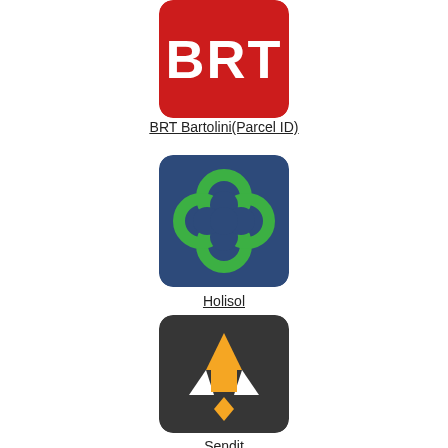[Figure (logo): BRT Bartolini logo - red rounded square with white BRT text]
BRT Bartolini(Parcel ID)
[Figure (logo): Holisol logo - dark blue rounded square with green flower/petals icon]
Holisol
[Figure (logo): Sendit logo - dark charcoal rounded square with orange rocket/arrow icon]
Sendit
[Figure (logo): Fourth logo - blue rounded square with white wave/lines pattern, partially visible]